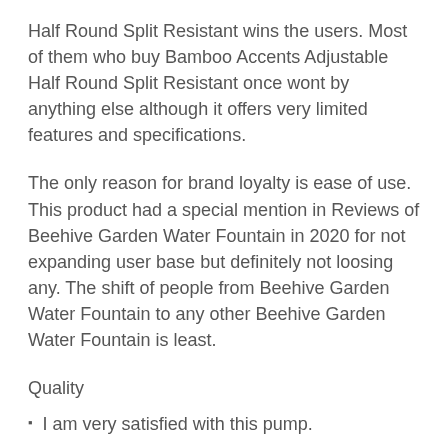Half Round Split Resistant wins the users. Most of them who buy Bamboo Accents Adjustable Half Round Split Resistant once wont by anything else although it offers very limited features and specifications.
The only reason for brand loyalty is ease of use. This product had a special mention in Reviews of Beehive Garden Water Fountain in 2020 for not expanding user base but definitely not loosing any. The shift of people from Beehive Garden Water Fountain to any other Beehive Garden Water Fountain is least.
Quality
I am very satisfied with this pump.
Works great for my planter turned to water feature.